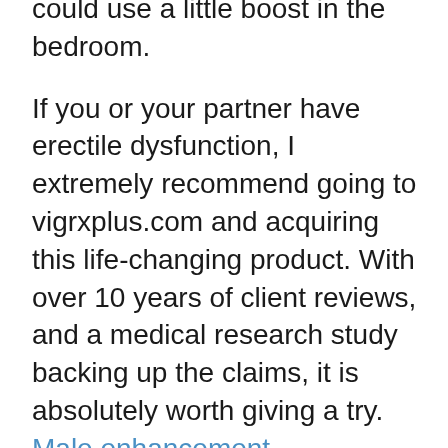could use a little boost in the bedroom.
If you or your partner have erectile dysfunction, I extremely recommend going to vigrxplus.com and acquiring this life-changing product. With over 10 years of client reviews, and a medical research study backing up the claims, it is absolutely worth giving a try. Male enhancement.
More Like This: Best Male Enhancement Pills: Leading 11 Ranked Supplements [2021] Affiliate Disclosure:.
If you decide to acquire the item advised at no extra cost to you, the links consisted of in this item evaluation might result in a little commission. This goes towards supporting